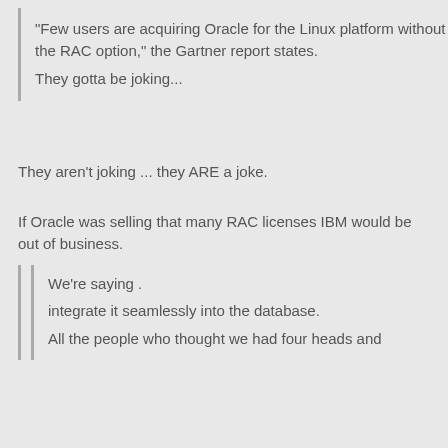"Few users are acquiring Oracle for the Linux platform without the RAC option," the Gartner report states.
They gotta be joking...
They aren't joking ... they ARE a joke.
If Oracle was selling that many RAC licenses IBM would be out of business.
We're saying .
integrate it seamlessly into the database.
All the people who thought we had four heads and